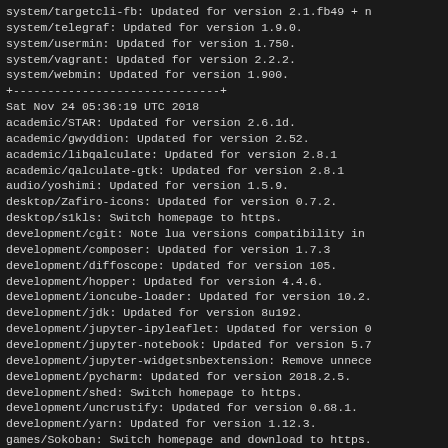system/targetcli-fb: Updated for version 2.1.fb49 + n
system/telegraf: Updated for version 1.9.0.
system/usermin: Updated for version 1.750.
system/vagrant: Updated for version 2.2.2.
system/webmin: Updated for version 1.900.
+------------------------------+
Sat Nov 24 05:36:19 UTC 2018
academic/STAR: Updated for version 2.6.1d.
academic/gwyddion: Updated for version 2.52.
academic/libqalculate: Updated for version 2.8.1
academic/qalculate-gtk: Updated for version 2.8.1
audio/yoshimi: Updated for version 1.5.9.
desktop/Zafiro-icons: Updated for version 0.7.2.
desktop/s1kls: Switch homepage to https.
development/cgit: Note lua versions compatibility in
development/composer: Updated for version 1.7.3
development/diffoscope: Updated for version 105.
development/hopper: Updated for version 4.4.6.
development/ioncube-loader: Updated for version 10.2.
development/jdk: Updated for version 8u192.
development/jupyter-ipyleaflet: Updated for version 0
development/jupyter-notebook: Updated for version 5.7
development/jupyter-widgetsnbextension: Remove unnece
development/pycharm: Updated for version 2018.2.5.
development/shed: Switch homepage to https.
development/uncrustify: Updated for version 0.68.1.
development/yarn: Updated for version 1.12.3.
games/Sokoban: Switch homepage and download to https.
gis/Fiona: Updated for version 1.8.2.
gis/cartopy: Updated for version 0.17.0.